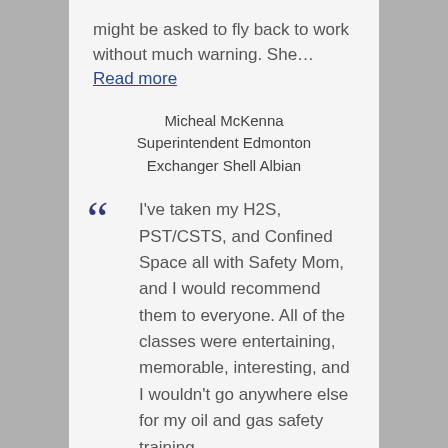might be asked to fly back to work without much warning. She… Read more
Micheal McKenna Superintendent Edmonton Exchanger Shell Albian
I've taken my H2S, PST/CSTS, and Confined Space all with Safety Mom, and I would recommend them to everyone. All of the classes were entertaining, memorable, interesting, and I wouldn't go anywhere else for my oil and gas safety training.